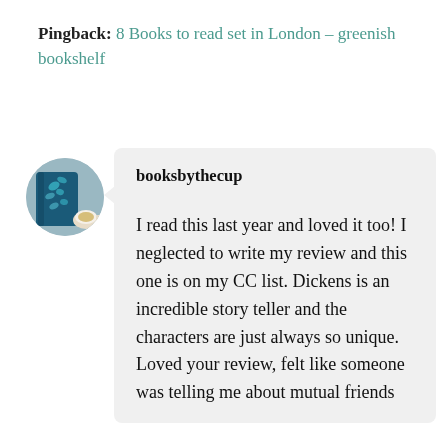Pingback: 8 Books to read set in London – greenish bookshelf
[Figure (photo): Circular avatar photo showing a blue book with butterfly pattern and a cup of tea]
booksbythecup
I read this last year and loved it too! I neglected to write my review and this one is on my CC list. Dickens is an incredible story teller and the characters are just always so unique. Loved your review, felt like someone was telling me about mutual friends